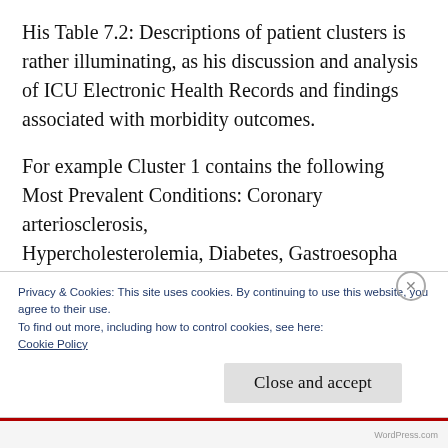His Table 7.2: Descriptions of patient clusters is rather illuminating, as his discussion and analysis of ICU Electronic Health Records and findings associated with morbidity outcomes.
For example Cluster 1 contains the following Most Prevalent Conditions: Coronary arteriosclerosis, Hypercholesterolemia, Diabetes, Gastroesophageal reflux disease.  Atrial fibrillation.
Privacy & Cookies: This site uses cookies. By continuing to use this website, you agree to their use.
To find out more, including how to control cookies, see here:
Cookie Policy
Close and accept